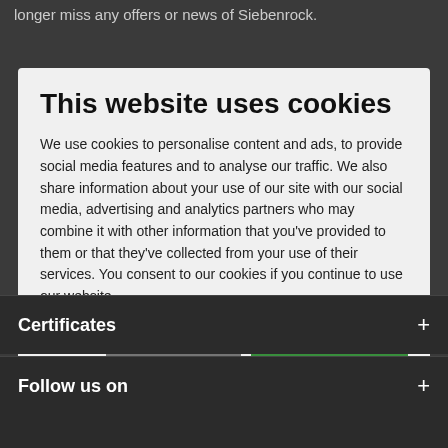longer miss any offers or news of Siebenrock.
This website uses cookies
We use cookies to personalise content and ads, to provide social media features and to analyse our traffic. We also share information about your use of our site with our social media, advertising and analytics partners who may combine it with other information that you've provided to them or that they've collected from your use of their services. You consent to our cookies if you continue to use our website.
Allow selection | Allow all cookies
Necessary | Preferences | Statistics | Marketing | Show details
Certificates
Follow us on